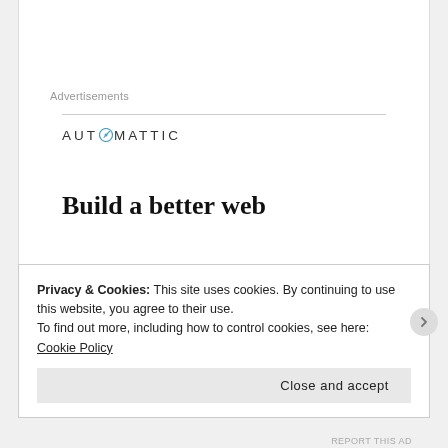Advertisements
[Figure (logo): Automattic logo — uppercase sans-serif text 'AUTOMATTIC' with a compass/clock icon replacing the letter O]
Build a better web
Privacy & Cookies: This site uses cookies. By continuing to use this website, you agree to their use.
To find out more, including how to control cookies, see here: Cookie Policy
Close and accept